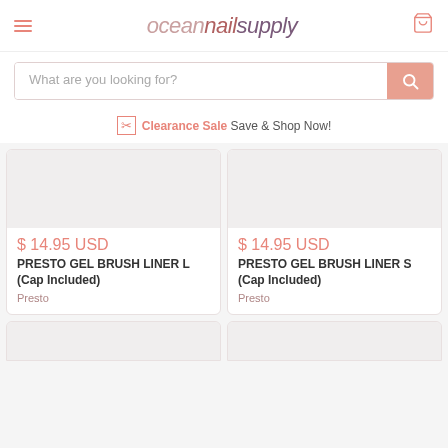oceannailsupply
What are you looking for?
Clearance Sale Save & Shop Now!
$ 14.95 USD
PRESTO GEL BRUSH LINER L (Cap Included)
Presto
$ 14.95 USD
PRESTO GEL BRUSH LINER S (Cap Included)
Presto